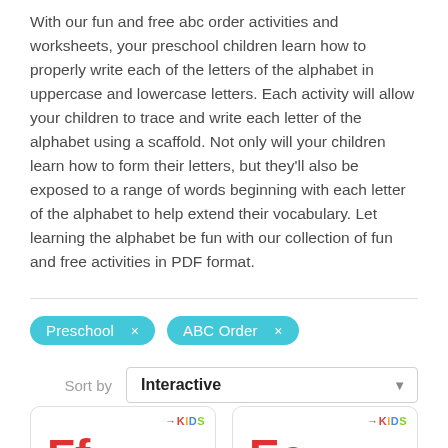With our fun and free abc order activities and worksheets, your preschool children learn how to properly write each of the letters of the alphabet in uppercase and lowercase letters. Each activity will allow your children to trace and write each letter of the alphabet using a scaffold. Not only will your children learn how to form their letters, but they'll also be exposed to a range of words beginning with each letter of the alphabet to help extend their vocabulary. Let learning the alphabet be fun with our collection of fun and free activities in PDF format.
Preschool ×   ABC Order ×
Sort by   Interactive
[Figure (other): Card showing Ff letters in red with Kids brand logo]
[Figure (other): Card showing Ee letters in red with Kids brand logo]